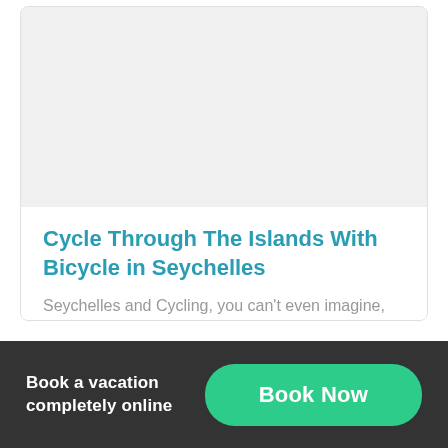[Figure (other): Card with light gray image placeholder area at top, content below]
Cycle Through The Islands With Bicycle in Seychelles
Seychelles and Cycling, you can't even imagine, right? I know, the first thing that comes…
Book a vacation completely online
Book Now